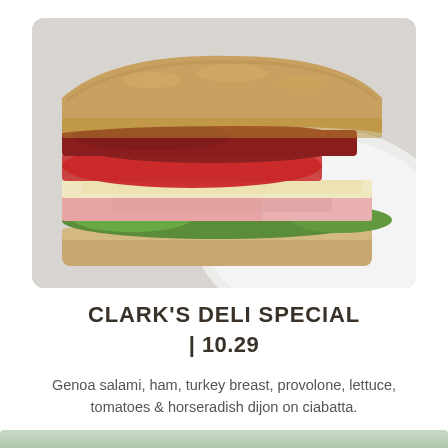[Figure (photo): Close-up photo of a sandwich on ciabatta bread with layers of salami, tomato, provolone cheese, ham, and lettuce, resting on a white plate against a light gray background.]
CLARK'S DELI SPECIAL
| 10.29
Genoa salami, ham, turkey breast, provolone, lettuce, tomatoes & horseradish dijon on ciabatta.
[Figure (photo): Partial view of another menu item photo at the bottom of the page, showing green and light-colored food ingredients.]